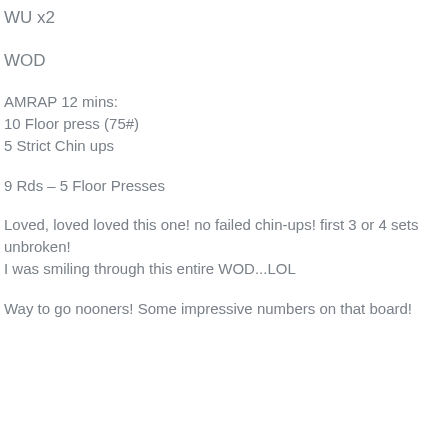WU x2
WOD
AMRAP 12 mins:
10 Floor press (75#)
5 Strict Chin ups
9 Rds – 5 Floor Presses
Loved, loved loved this one! no failed chin-ups! first 3 or 4 sets unbroken!
I was smiling through this entire WOD...LOL
Way to go nooners! Some impressive numbers on that board!